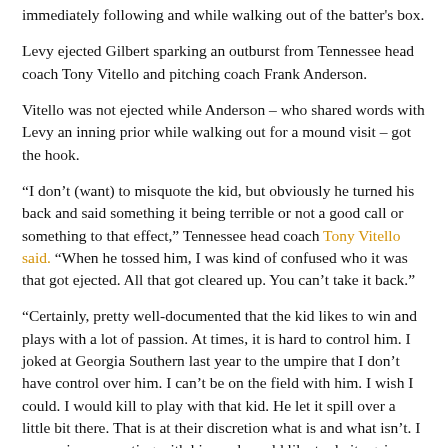immediately following and while walking out of the batter's box.
Levy ejected Gilbert sparking an outburst from Tennessee head coach Tony Vitello and pitching coach Frank Anderson.
Vitello was not ejected while Anderson – who shared words with Levy an inning prior while walking out for a mound visit – got the hook.
“I don’t (want) to misquote the kid, but obviously he turned his back and said something it being terrible or not a good call or something to that effect,” Tennessee head coach Tony Vitello said. “When he tossed him, I was kind of confused who it was that got ejected. All that got cleared up. You can’t take it back.”
“Certainly, pretty well-documented that the kid likes to win and plays with a lot of passion. At times, it is hard to control him. I joked at Georgia Southern last year to the umpire that I don’t have control over him. I can’t be on the field with him. I wish I could. I would kill to play with that kid. He let it spill over a little bit there. That is at their discretion what is and what isn’t. I sure enjoy competing with him and would like to do it again. Can’t take it back.”